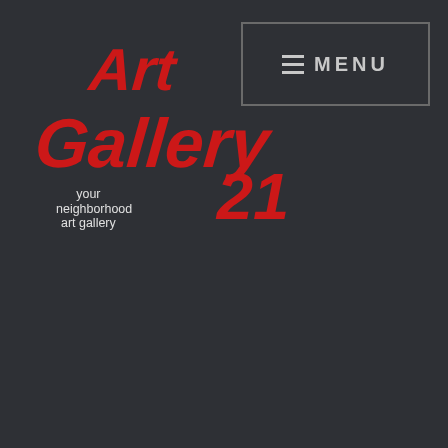[Figure (logo): Art Gallery 21 logo — stylized red script text reading 'Art Gallery 21' with tagline 'your neighborhood art gallery' in white, on dark background]
≡ MENU